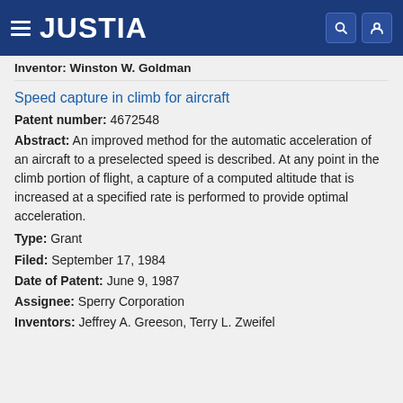JUSTIA
Inventor: Winston W. Goldman
Speed capture in climb for aircraft
Patent number: 4672548
Abstract: An improved method for the automatic acceleration of an aircraft to a preselected speed is described. At any point in the climb portion of flight, a capture of a computed altitude that is increased at a specified rate is performed to provide optimal acceleration.
Type: Grant
Filed: September 17, 1984
Date of Patent: June 9, 1987
Assignee: Sperry Corporation
Inventors: Jeffrey A. Greeson, Terry L. Zweifel